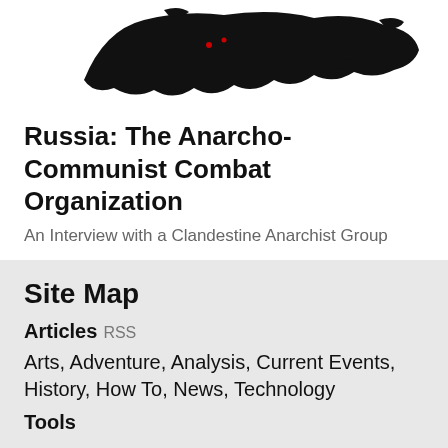[Figure (map): Black silhouette map of Russia on white background with small red markers]
Russia: The Anarcho-Communist Combat Organization
An Interview with a Clandestine Anarchist Group
Site Map
Articles RSS
Arts, Adventure, Analysis, Current Events, History, How To, News, Technology
Tools